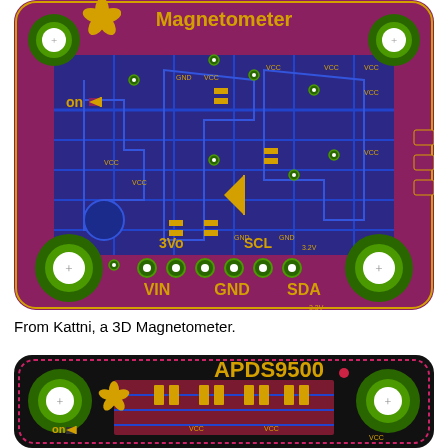[Figure (engineering-diagram): PCB layout of a Magnetometer board (purple/maroon background) showing circuit traces in blue, yellow text labels including 'Magnetometer', 'on', '3Vo', 'SCL', 'VIN', 'GND', 'SDA', mounting holes with green rings, various SMD components, and connector pads along the bottom edge.]
From Kattni, a 3D Magnetometer.
[Figure (engineering-diagram): PCB layout of an APDS9500 board (black background) with a dotted pink/red border, showing yellow text 'APDS9500', green mounting holes, yellow flower/adafruit logo, 'on' label, SMD components in yellow/orange, blue circuit traces, and 'VCC' labels. The board is partially visible, cropped at the bottom.]